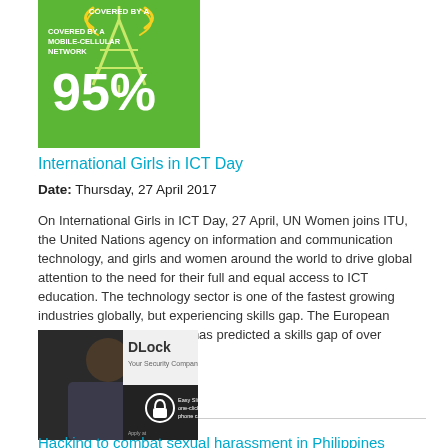[Figure (infographic): Green infographic showing a mobile tower icon with text 'COVERED BY A MOBILE-CELLULAR NETWORK' and '95%' in large white text]
International Girls in ICT Day
Date: Thursday, 27 April 2017
On International Girls in ICT Day, 27 April, UN Women joins ITU, the United Nations agency on information and communication technology, and girls and women around the world to drive global attention to the need for their full and equal access to ICT education. The technology sector is one of the fastest growing industries globally, but experiencing skills gap. The European Commission, for example, has predicted a skills gap of over 800.000 ICT jobs in...
[Figure (photo): Photo of a young person alongside a DLock app screenshot showing 'DLock Your Security Companio' branding with a lock icon]
Hacking to combat sexual harassment in Philippines